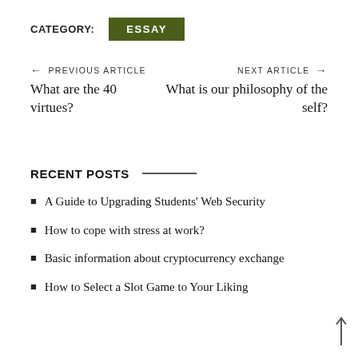CATEGORY: ESSAY
← PREVIOUS ARTICLE
What are the 40 virtues?
NEXT ARTICLE →
What is our philosophy of the self?
RECENT POSTS
A Guide to Upgrading Students' Web Security
How to cope with stress at work?
Basic information about cryptocurrency exchange
How to Select a Slot Game to Your Liking